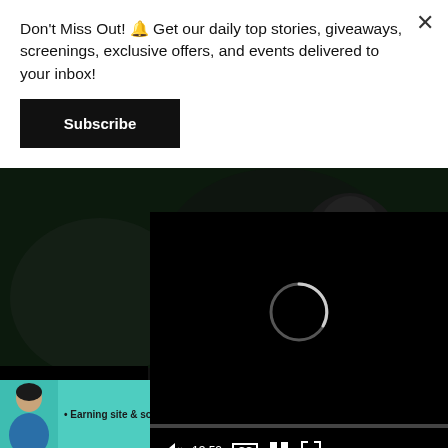Don't Miss Out! 🔔 Get our daily top stories, giveaways, screenings, exclusive offers, and events delivered to your inbox!
Subscribe
[Figure (screenshot): Video player showing a dark scene with a person wearing glasses and a mask. Two overlapping video player windows visible, main player at bottom-left showing 00:00 timestamp and gray progress bar; secondary player overlapping on right showing loading spinner and 13:52 timestamp with mute, CC, grid, and fullscreen controls. Progress bar shown at bottom of secondary player.]
[Figure (screenshot): Advertisement banner for SHE Media Partner Network with teal/mint background, text 'Earning site & social revenue', SHE logo with gear icon, and a 'LEARN MORE' button in white.]